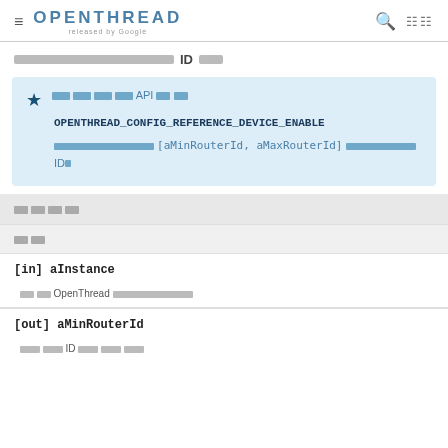≡ OPENTHREAD released by Google 🔍 ⊞
〓〓〓〓〓〓〓〓〓〓〓〓〓〓〓〓 ID 〓〓〓
〓〓〓〓 API 〓〓
OPENTHREAD_CONFIG_REFERENCE_DEVICE_ENABLE
〓〓〓〓〓〓〓〓〓〓〓〓〓〓 [aMinRouterId, aMaxRouterId] 〓〓〓〓〓〓〓〓〓〓 ID〓
〓〓〓〓
〓〓
[in] aInstance
〓〓 OpenThread 〓〓〓〓〓〓〓〓
[out] aMinRouterId
〓〓〓〓 ID 〓〓〓